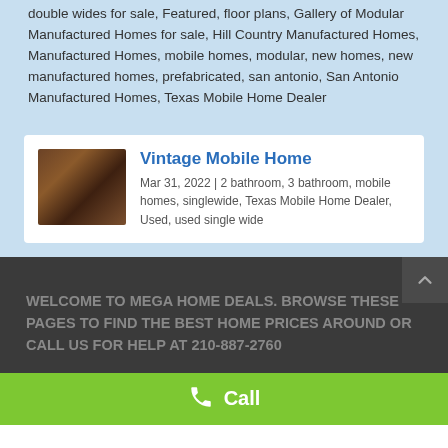double wides for sale, Featured, floor plans, Gallery of Modular Manufactured Homes for sale, Hill Country Manufactured Homes, Manufactured Homes, mobile homes, modular, new homes, new manufactured homes, prefabricated, san antonio, San Antonio Manufactured Homes, Texas Mobile Home Dealer
Vintage Mobile Home
Mar 31, 2022 | 2 bathroom, 3 bathroom, mobile homes, singlewide, Texas Mobile Home Dealer, Used, used single wide
WELCOME TO MEGA HOME DEALS. BROWSE THESE PAGES TO FIND THE BEST HOME PRICES AROUND OR CALL US FOR HELP AT 210-887-2760
Call